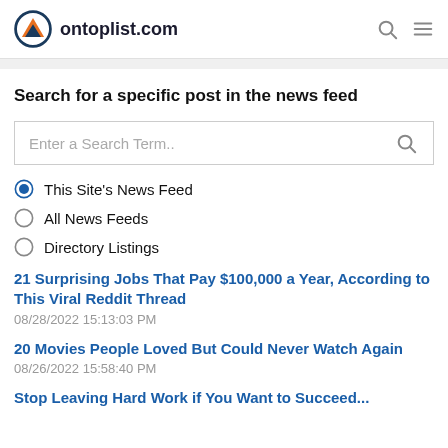ontoplist.com
Search for a specific post in the news feed
[Figure (screenshot): Search input box with placeholder text 'Enter a Search Term..' and a search icon on the right]
This Site's News Feed (selected radio button)
All News Feeds
Directory Listings
21 Surprising Jobs That Pay $100,000 a Year, According to This Viral Reddit Thread
08/28/2022 15:13:03 PM
20 Movies People Loved But Could Never Watch Again
08/26/2022 15:58:40 PM
(partial, clipped at bottom)